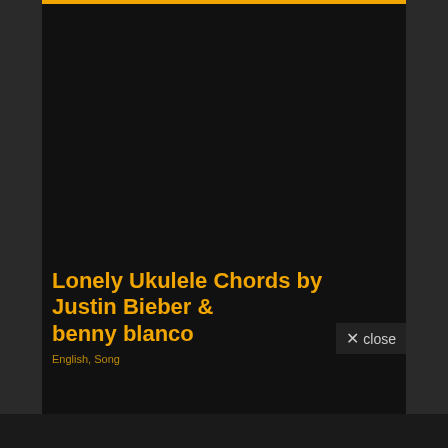Lonely Ukulele Chords by Justin Bieber & benny blanco
English, Song
× close